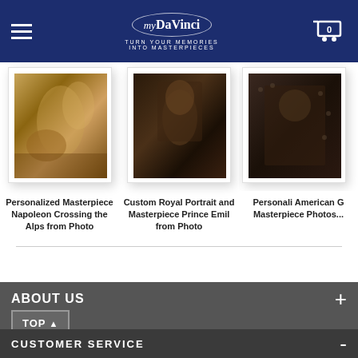myDaVinci — TURN YOUR MEMORIES INTO MASTERPIECES
[Figure (screenshot): Product card 1: Personalized Masterpiece Napoleon Crossing the Alps from Photo, from $49.00, 5 stars, 27 reviews]
Personalized Masterpiece Napoleon Crossing the Alps from Photo
from $49.00
★★★★★ 27 reviews
[Figure (screenshot): Product card 2: Custom Royal Portrait and Masterpiece Prince Emil from Photo, from $49.00, 5 stars, 7 reviews]
Custom Royal Portrait and Masterpiece Prince Emil from Photo
from $49.00
★★★★★ 7 reviews
[Figure (screenshot): Product card 3 (partially visible): Personalized American Gothic Masterpiece from Photo, from $6x, 209 reviews]
Personali... American G... Masterpiece... Photos...
from $6...
★★★★☆ 209 rev...
ABOUT US
TOP ^
CUSTOMER SERVICE